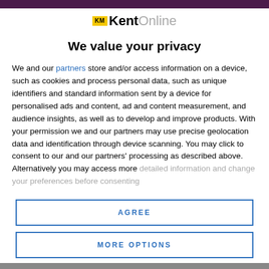[Figure (logo): KM Kent Online logo with yellow KM box and grey Online text]
We value your privacy
We and our partners store and/or access information on a device, such as cookies and process personal data, such as unique identifiers and standard information sent by a device for personalised ads and content, ad and content measurement, and audience insights, as well as to develop and improve products. With your permission we and our partners may use precise geolocation data and identification through device scanning. You may click to consent to our and our partners' processing as described above. Alternatively you may access more detailed information and change your preferences before consenting
AGREE
MORE OPTIONS